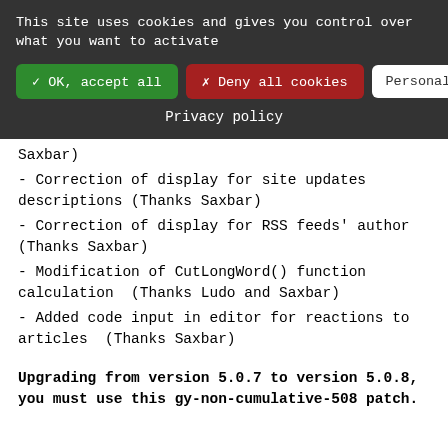This site uses cookies and gives you control over what you want to activate
✓ OK, accept all
✗ Deny all cookies
Personalize
Privacy policy
Saxbar)
- Correction of display for site updates descriptions (Thanks Saxbar)
- Correction of display for RSS feeds' author (Thanks Saxbar)
- Modification of CutLongWord() function calculation  (Thanks Ludo and Saxbar)
- Added code input in editor for reactions to articles  (Thanks Saxbar)
Upgrading from version 5.0.7 to version 5.0.8, you must use this gy-non-cumulative-508 patch.